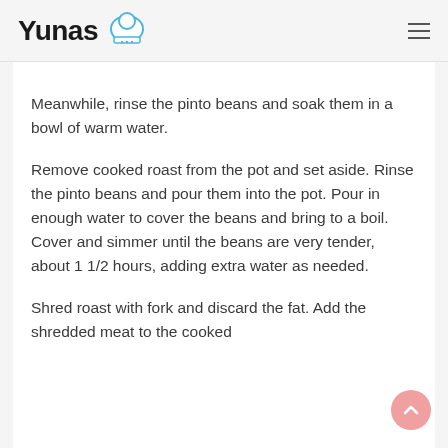Yunas
Meanwhile, rinse the pinto beans and soak them in a bowl of warm water.
Remove cooked roast from the pot and set aside. Rinse the pinto beans and pour them into the pot. Pour in enough water to cover the beans and bring to a boil. Cover and simmer until the beans are very tender, about 1 1/2 hours, adding extra water as needed.
Shred roast with fork and discard the fat. Add the shredded meat to the cooked